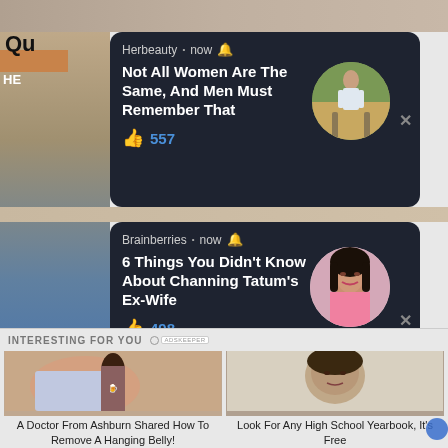Re
Qu
[Figure (screenshot): Notification card from Herbeauty: 'Not All Women Are The Same, And Men Must Remember That' with 557 likes and a circular avatar of a tall woman]
[Figure (screenshot): Notification card from Brainberries: '6 Things You Didn't Know About Channing Tatum's Ex-Wife' with 498 likes and a circular avatar of a dark-haired woman smiling]
INTERESTING FOR YOU
[Figure (photo): Photo of an overweight person's midsection with a soda bottle]
A Doctor From Ashburn Shared How To Remove A Hanging Belly!
[Figure (photo): Black and white vintage photo of a young woman]
Look For Any High School Yearbook, It's Free